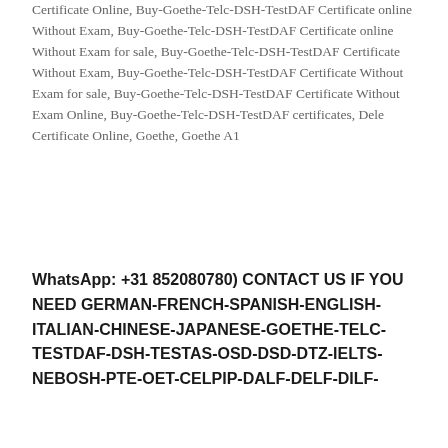Certificate Online, Buy-Goethe-Telc-DSH-TestDAF Certificate online Without Exam, Buy-Goethe-Telc-DSH-TestDAF Certificate online Without Exam for sale, Buy-Goethe-Telc-DSH-TestDAF Certificate Without Exam, Buy-Goethe-Telc-DSH-TestDAF Certificate Without Exam for sale, Buy-Goethe-Telc-DSH-TestDAF Certificate Without Exam Online, Buy-Goethe-Telc-DSH-TestDAF certificates, Dele Certificate Online, Goethe, Goethe A1
WhatsApp: +31 852080780) CONTACT US IF YOU NEED GERMAN-FRENCH-SPANISH-ENGLISH-ITALIAN-CHINESE-JAPANESE-GOETHE-TELC-TESTDAF-DSH-TESTAS-OSD-DSD-DTZ-IELTS-NEBOSH-PTE-OET-CELPIP-DALF-DELF-DILF-